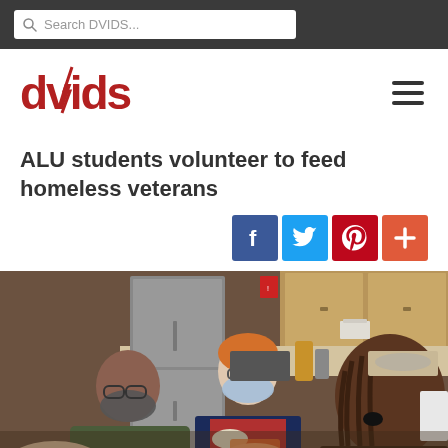Search DVIDS...
[Figure (logo): DVIDS logo in dark red with lightning bolt]
ALU students volunteer to feed homeless veterans
[Figure (other): Social share buttons: Facebook, Twitter, Pinterest, and plus]
[Figure (photo): Volunteers wearing masks serving food to veterans in a kitchen setting]